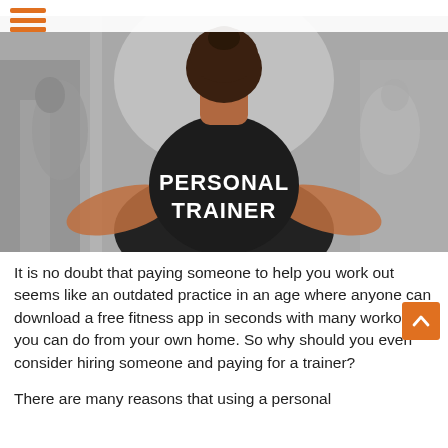[Figure (photo): A person wearing a black t-shirt with 'PERSONAL TRAINER' printed on the back, standing in a gym with blurred background.]
It is no doubt that paying someone to help you work out seems like an outdated practice in an age where anyone can download a free fitness app in seconds with many workouts you can do from your own home. So why should you even consider hiring someone and paying for a trainer?
There are many reasons that using a personal